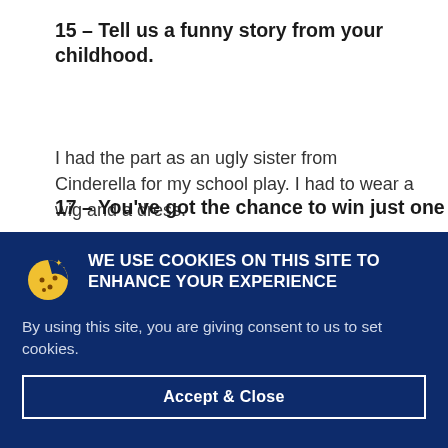15 – Tell us a funny story from your childhood.
I had the part as an ugly sister from Cinderella for my school play. I had to wear a wig and a dress.
17 – You've got the chance to win just one
[Figure (illustration): Yellow cookie icon with dots on dark blue background]
WE USE COOKIES ON THIS SITE TO ENHANCE YOUR EXPERIENCE
By using this site, you are giving consent to us to set cookies.
Accept & Close